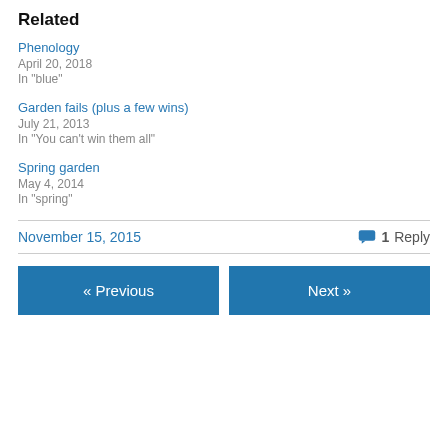Related
Phenology
April 20, 2018
In "blue"
Garden fails (plus a few wins)
July 21, 2013
In "You can't win them all"
Spring garden
May 4, 2014
In "spring"
November 15, 2015   1 Reply
« Previous   Next »